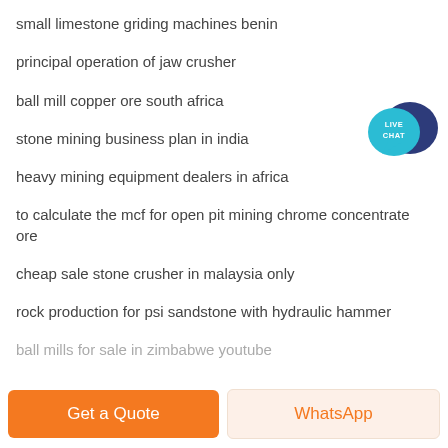small limestone griding machines benin
principal operation of jaw crusher
ball mill copper ore south africa
stone mining business plan in india
heavy mining equipment dealers in africa
to calculate the mcf for open pit mining chrome concentrate ore
cheap sale stone crusher in malaysia only
rock production for psi sandstone with hydraulic hammer
ball mills for sale in zimbabwe youtube
[Figure (illustration): Live Chat button icon with speech bubble in teal and dark navy blue]
Get a Quote
WhatsApp